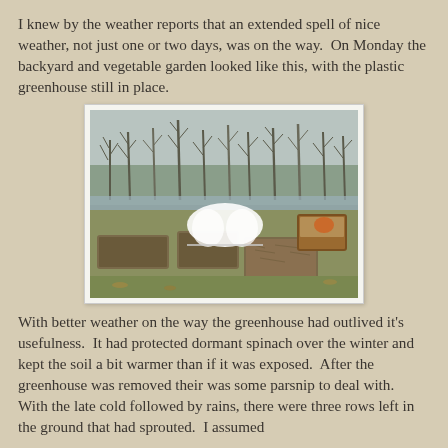I knew by the weather reports that an extended spell of nice weather, not just one or two days, was on the way.  On Monday the backyard and vegetable garden looked like this, with the plastic greenhouse still in place.
[Figure (photo): Photograph of a backyard vegetable garden with raised beds, a white plastic greenhouse tunnel in the center, a wooden cold frame on the right, bare trees in the background, and a pond or water body visible behind the garden.]
With better weather on the way the greenhouse had outlived it's usefulness.  It had protected dormant spinach over the winter and kept the soil a bit warmer than if it was exposed.  After the greenhouse was removed their was some parsnip to deal with.  With the late cold followed by rains, there were three rows left in the ground that had sprouted.  I assumed